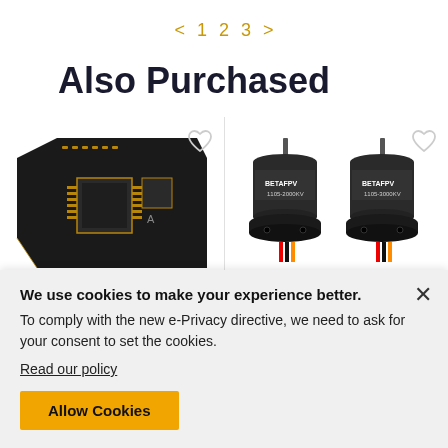< 1 2 3 >
Also Purchased
[Figure (photo): PCB circuit board (flight controller) with gold circuitry on dark background, with a heart/wishlist icon in the top right corner]
[Figure (photo): Two BETAFPV 1105-2000KV brushless motors on white background, with a heart/wishlist icon in the top right corner]
We use cookies to make your experience better.
To comply with the new e-Privacy directive, we need to ask for your consent to set the cookies.
Read our policy
Allow Cookies